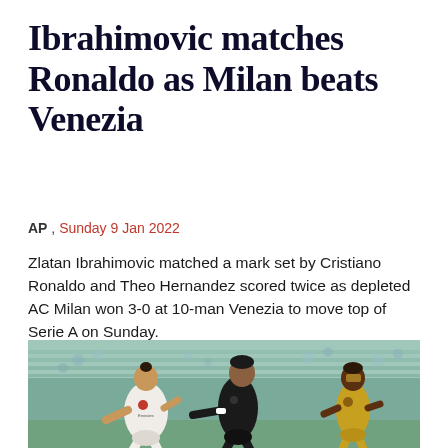Ibrahimovic matches Ronaldo as Milan beats Venezia
AP , Sunday 9 Jan 2022
Zlatan Ibrahimovic matched a mark set by Cristiano Ronaldo and Theo Hernandez scored twice as depleted AC Milan won 3-0 at 10-man Venezia to move top of Serie A on Sunday.
[Figure (photo): Action photo of football match: Zlatan Ibrahimovic in white AC Milan kit with Emirates sponsor running alongside a defender in black Venezia kit, with another player in gold/yellow kit in the background, stadium seats visible.]